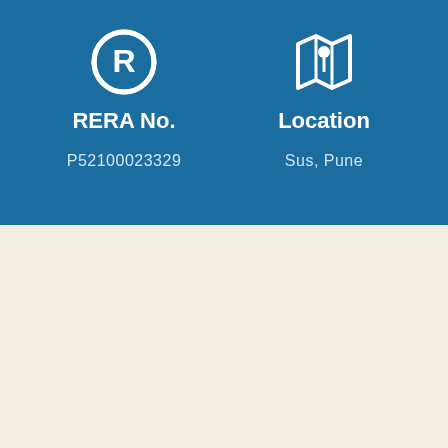RERA No.
P52100023329
Location
Sus, Pune